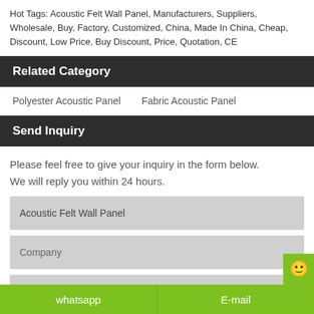Hot Tags: Acoustic Felt Wall Panel, Manufacturers, Suppliers, Wholesale, Buy, Factory, Customized, China, Made In China, Cheap, Discount, Low Price, Buy Discount, Price, Quotation, CE
Related Category
Polyester Acoustic Panel
Fabric Acoustic Panel
Send Inquiry
Please feel free to give your inquiry in the form below. We will reply you within 24 hours.
Acoustic Felt Wall Panel
Company
E-mail*
whatsapp    E-mail